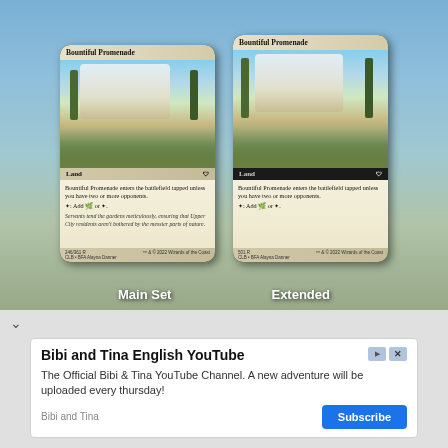[Figure (illustration): Two Magic: The Gathering cards side by side showing 'Bountiful Promenade' land card. Left card is labeled 'Main Set' and right card is labeled 'Extended'. Both show a garden/promenade art with a castle. Cards display land type and rules text about entering battlefield tapped unless you have two or more opponents.]
Main Set
Extended
[Figure (infographic): Advertisement for 'Bibi and Tina English YouTube' channel with Subscribe button. Text reads: The Official Bibi & Tina YouTube Channel. A new adventure will be uploaded every thursday!]
Bibi and Tina English YouTube
The Official Bibi & Tina YouTube Channel. A new adventure will be uploaded every thursday!
Bibi and Tina
Subscribe